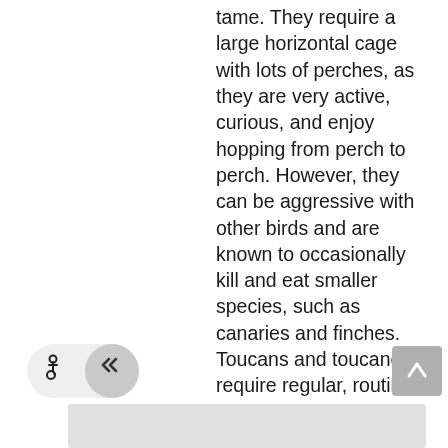tame. They require a large horizontal cage with lots of perches, as they are very active, curious, and enjoy hopping from perch to perch. However, they can be aggressive with other birds and are known to occasionally kill and eat smaller species, such as canaries and finches. Toucans and toucanets require regular, routine veterinary health check-ups.
[Figure (other): Navigation bar with accessibility icon button and collapse arrow button (double left chevron), and a scroll-to-top button on the right side. Gray content bar at the bottom.]